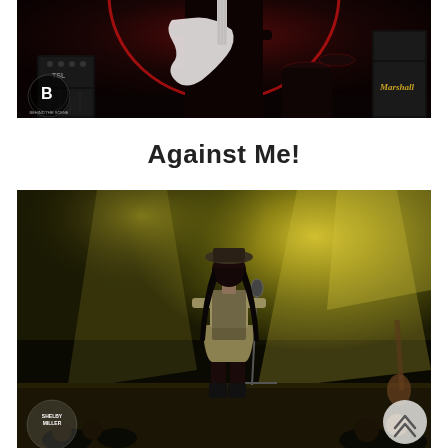[Figure (photo): Concert photo: guitarist on stage under red arch/circle lighting with Marshall amp visible on right and BTS (Behind The Scene) logo watermark on lower left. Dark red moody lighting.]
Against Me!
[Figure (photo): Concert photo: female performer standing on stage facing away from camera, wearing a hat and skirt with long dark hair, green/yellow hazy spotlight lighting from behind. Shelby Miller watermark on lower left. Scroll-up button visible in lower right corner.]